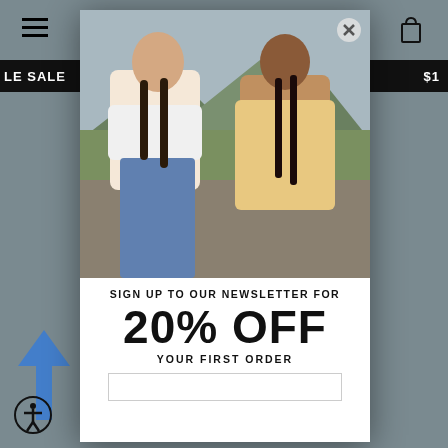[Figure (screenshot): Website background showing grey/muted shopping page with hamburger menu, bag icon, black sale banner, blue arrow, and accessibility icon]
[Figure (photo): Two female models posing outdoors against a mountainous green backdrop. Left model wears a white puff-sleeve crop top and blue jeans with long braided hair. Right model wears a yellow floral-print mini dress with dark braided hair.]
SIGN UP TO OUR NEWSLETTER FOR
20% OFF
YOUR FIRST ORDER